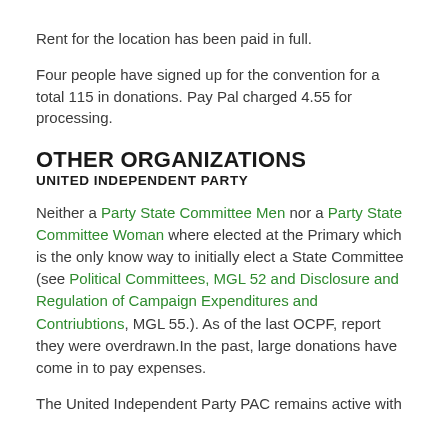Rent for the location has been paid in full.
Four people have signed up for the convention for a total 115 in donations. Pay Pal charged 4.55 for processing.
OTHER ORGANIZATIONS
UNITED INDEPENDENT PARTY
Neither a Party State Committee Men nor a Party State Committee Woman where elected at the Primary which is the only know way to initially elect a State Committee (see Political Committees, MGL 52 and Disclosure and Regulation of Campaign Expenditures and Contriubtions, MGL 55.). As of the last OCPF, report they were overdrawn.In the past, large donations have come in to pay expenses.
The United Independent Party PAC remains active with